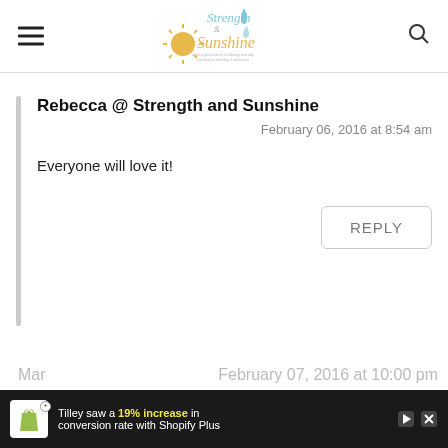[Figure (logo): Strength and Sunshine blog logo with sun and drop icons, teal and yellow colors, tagline 'where gluten-free & allergy friendly cooking is healthy & delicious']
Rebecca @ Strength and Sunshine
February 06, 2016 at 8:54 am
Everyone will love it!
REPLY
Mar
February 07, 2016 at 10:00 pm
[Figure (screenshot): Shopify Plus advertisement banner: 'Tilley saw a 19% increase in conversion rate with Shopify Plus']